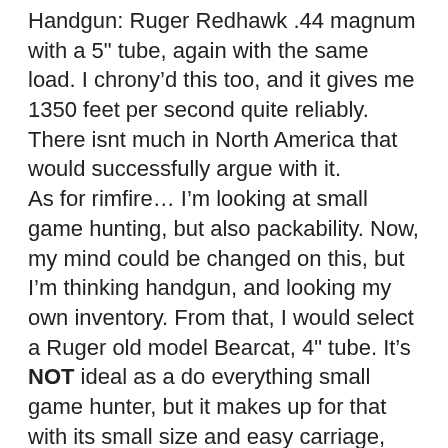Handgun: Ruger Redhawk .44 magnum with a 5" tube, again with the same load. I chrony'd this too, and it gives me 1350 feet per second quite reliably. There isnt much in North America that would successfully argue with it. As for rimfire… I'm looking at small game hunting, but also packability. Now, my mind could be changed on this, but I'm thinking handgun, and looking my own inventory. From that, I would select a Ruger old model Bearcat, 4" tube. It's NOT ideal as a do everything small game hunter, but it makes up for that with its small size and easy carriage, enabling me to have it handy and ready to hand all the time, without having to deal with shuffling two rifles around in order to get a shot at a rabbit before it spooks. Plus, I'm a reasonably fair shot with it.
I had the thought of swapping the .44s for .357s